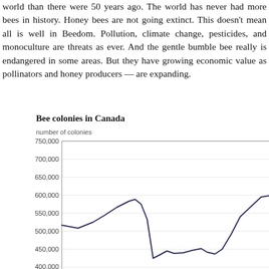world than there were 50 years ago. The world has never had more bees in history. Honey bees are not going extinct. This doesn't mean all is well in Beedom. Pollution, climate change, pesticides, and monoculture are threats as ever. And the gentle bumble bee really is endangered in some areas. But bees — they have growing economic value as pollinators and honey producers — are expanding.
[Figure (line-chart): Line chart showing number of bee colonies in Canada over time. Y-axis ranges from ~400,000 to 750,000. The line shows a peak around 590,000, drops to around 430,000, then rises sharply again toward 600,000+ at the right edge.]